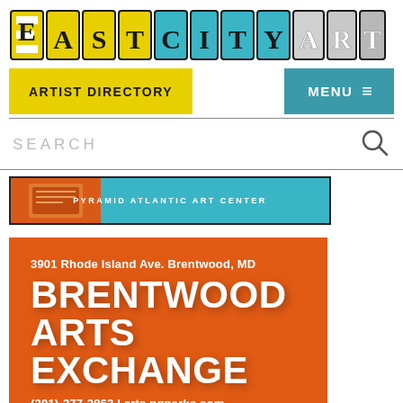[Figure (logo): EastCityArt logo with stylized block letters in yellow, teal, and gray/white]
ARTIST DIRECTORY
MENU ≡
SEARCH
[Figure (illustration): Pyramid Atlantic Art Center advertisement banner with teal background and orange book graphic]
[Figure (illustration): Brentwood Arts Exchange advertisement on orange background with address 3901 Rhode Island Ave. Brentwood, MD, phone (301)-277-2863, and website arts.pgparks.com]